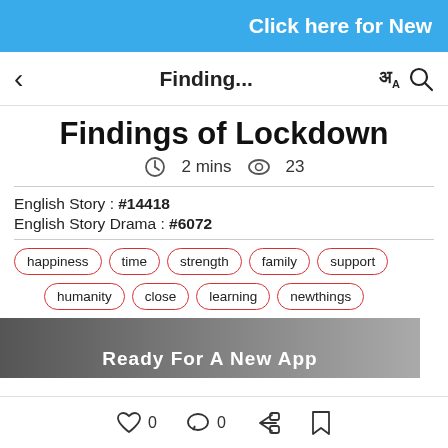Click here for New
Finding...
Findings of Lockdown
2 mins   23
English Story : #14418
English Story Drama : #6072
happiness
time
strength
family
support
humanity
close
learning
newthings
[Figure (photo): Advertisement banner: Ready For A New App]
0  0